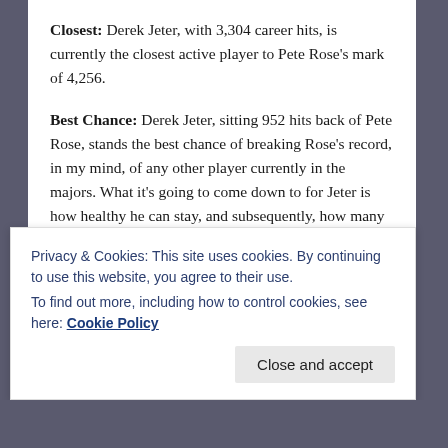Closest: Derek Jeter, with 3,304 career hits, is currently the closest active player to Pete Rose's mark of 4,256.
Best Chance: Derek Jeter, sitting 952 hits back of Pete Rose, stands the best chance of breaking Rose's record, in my mind, of any other player currently in the majors. What it's going to come down to for Jeter is how healthy he can stay, and subsequently, how many more years he can play. If he can play as long as Rose did–up until age 45–I see Jeter passing Rose fairly easily, as that gives him another seven seasons to rack up hits, and even if he starts to slump downward, and begins to collect only 140 hits a season, he would still end his career with a total of 4,284 hits. Though, with Jeter being a team player, and
Privacy & Cookies: This site uses cookies. By continuing to use this website, you agree to their use.
To find out more, including how to control cookies, see here: Cookie Policy